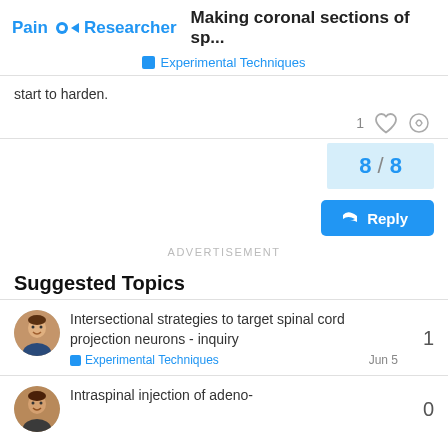Pain Researcher | Making coronal sections of sp... | Experimental Techniques
start to harden.
1 [like] [link]
8 / 8
Reply
ADVERTISEMENT
Suggested Topics
Intersectional strategies to target spinal cord projection neurons - inquiry
Experimental Techniques   Jun 5
1
Intraspinal injection of adeno-
0